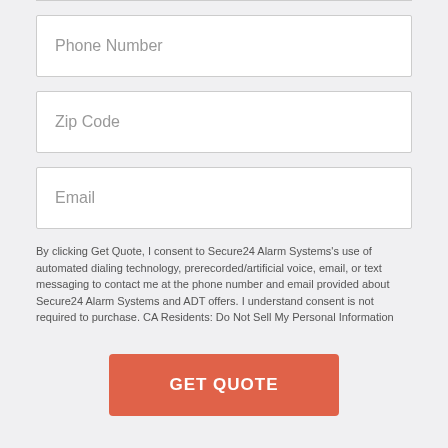Phone Number
Zip Code
Email
By clicking Get Quote, I consent to Secure24 Alarm Systems's use of automated dialing technology, prerecorded/artificial voice, email, or text messaging to contact me at the phone number and email provided about Secure24 Alarm Systems and ADT offers. I understand consent is not required to purchase. CA Residents: Do Not Sell My Personal Information
GET QUOTE
Tiger Valley, TN Home Security Systems --